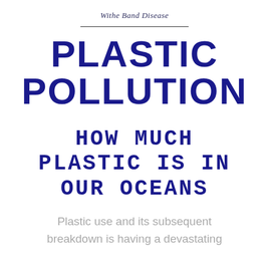Withe Band Disease
PLASTIC POLLUTION
HOW MUCH PLASTIC IS IN OUR OCEANS
Plastic use and its subsequent breakdown is having a devastating